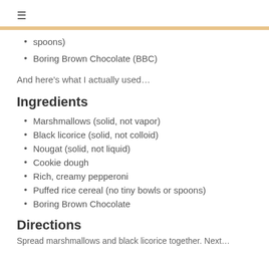≡
spoons)
Boring Brown Chocolate (BBC)
And here's what I actually used…
Ingredients
Marshmallows (solid, not vapor)
Black licorice (solid, not colloid)
Nougat (solid, not liquid)
Cookie dough
Rich, creamy pepperoni
Puffed rice cereal (no tiny bowls or spoons)
Boring Brown Chocolate
Directions
Spread marshmallows and black licorice together. Next…